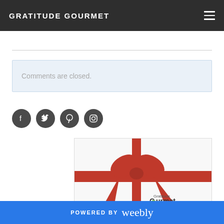GRATITUDE GOURMET
Comments are closed.
[Figure (other): Social media icon buttons: Facebook, Twitter, Pinterest, Instagram — dark circular icons]
[Figure (photo): Gift card image with red ribbon bow on white background and Gratitude Gourmet logo]
POWERED BY weebly